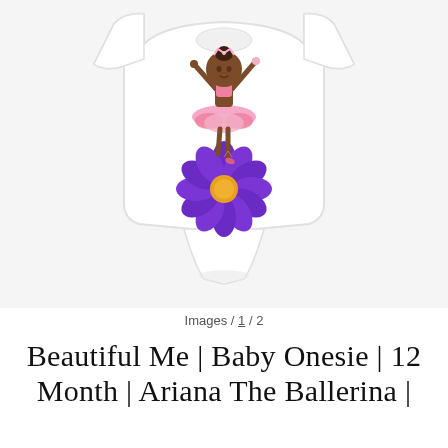[Figure (photo): Product photo of a white baby onesie with a cartoon illustration of a young Black ballerina girl in a pink tutu and tiara, standing on a purple flower with a gold center]
Images / 1 / 2
Beautiful Me | Baby Onesie | 12 Month | Ariana The Ballerina |